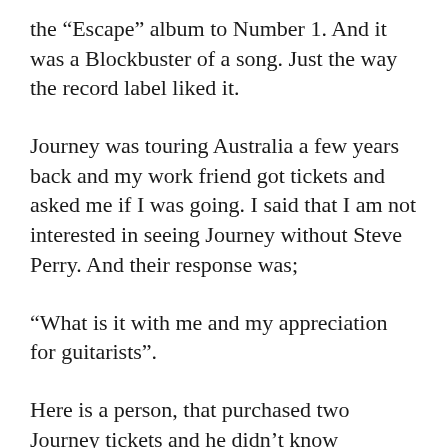the “Escape” album to Number 1. And it was a Blockbuster of a song. Just the way the record label liked it.
Journey was touring Australia a few years back and my work friend got tickets and asked me if I was going. I said that I am not interested in seeing Journey without Steve Perry. And their response was;
“What is it with me and my appreciation for guitarists”.
Here is a person, that purchased two Journey tickets and he didn’t know